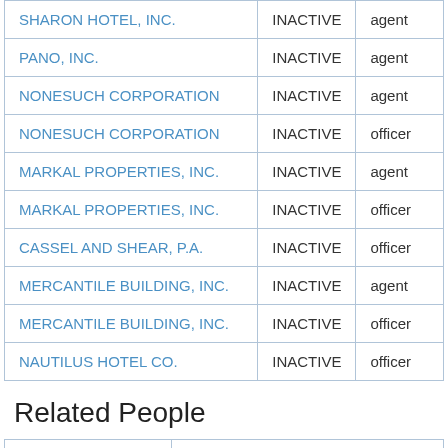|  | Status | Role |
| --- | --- | --- |
| SHARON HOTEL, INC. | INACTIVE | agent |
| PANO, INC. | INACTIVE | agent |
| NONESUCH CORPORATION | INACTIVE | agent |
| NONESUCH CORPORATION | INACTIVE | officer |
| MARKAL PROPERTIES, INC. | INACTIVE | agent |
| MARKAL PROPERTIES, INC. | INACTIVE | officer |
| CASSEL AND SHEAR, P.A. | INACTIVE | officer |
| MERCANTILE BUILDING, INC. | INACTIVE | agent |
| MERCANTILE BUILDING, INC. | INACTIVE | officer |
| NAUTILUS HOTEL CO. | INACTIVE | officer |
Related People
| Name | Address |
| --- | --- |